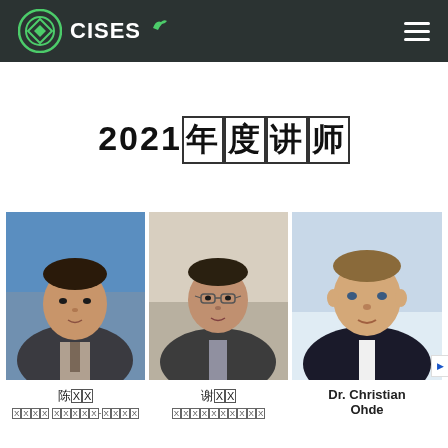CISES
2021年度讲师
[Figure (photo): Portrait photo of first person (Asian male, blue background, dark suit and tie)]
陈XX
XXXX XXXXX-XXXXX
[Figure (photo): Portrait photo of second person (Asian male, glasses, dark blazer)]
谢XX
XXXXXXXXXX
[Figure (photo): Portrait photo of Dr. Christian Ohde (European male, dark suit, light background)]
Dr. Christian Ohde